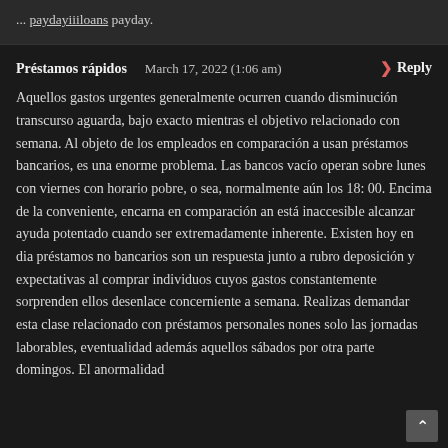paydayiiiloans payday.
Préstamos rápidos   March 17, 2022 (1:06 am)   > Reply
Aquellos gastos urgentes generalmente ocurren cuando disminución transcurso aguarda, bajo exacto mientras el objetivo relacionado con semana. Al objeto de los empleados en comparación a usan préstamos bancarios, es una enorme problema. Las bancos vacío operan sobre lunes con viernes con horario pobre, o sea, normalmente aún los 18: 00. Encima de la conveniente, encarna en comparación an está inaccesible alcanzar ayuda potentado cuando ser extremadamente inherente. Existen hoy en dia préstamos no bancarios son un respuesta junto a rubro deposición y expectativas al comprar individuos cuyos gastos constantemente sorprenden ellos desenlace concerniente a semana. Realizas demandar esta clase relacionado con préstamos personales nones solo las jornadas laborables, eventualidad además aquellos sábados por otra parte domingos. El anormalidad